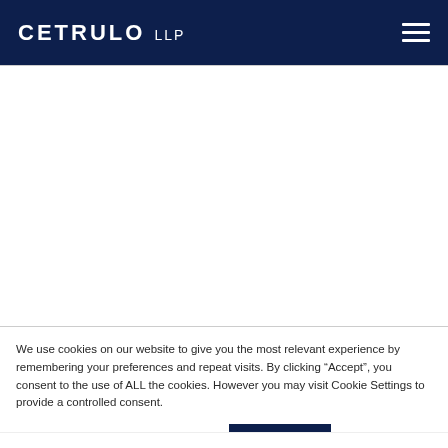CETRULO LLP
We use cookies on our website to give you the most relevant experience by remembering your preferences and repeat visits. By clicking “Accept”, you consent to the use of ALL the cookies. However you may visit Cookie Settings to provide a controlled consent.
Cookie settings | ACCEPT